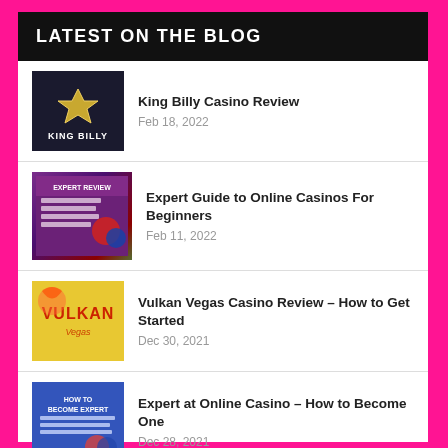LATEST ON THE BLOG
King Billy Casino Review
Feb 18, 2022
Expert Guide to Online Casinos For Beginners
Feb 11, 2022
Vulkan Vegas Casino Review – How to Get Started
Dec 30, 2021
Expert at Online Casino – How to Become One
Dec 28, 2021